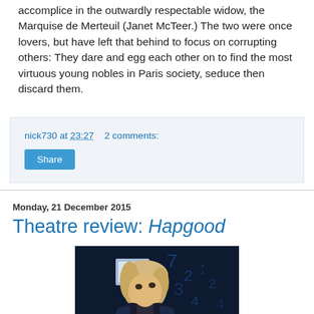accomplice in the outwardly respectable widow, the Marquise de Merteuil (Janet McTeer.) The two were once lovers, but have left that behind to focus on corrupting others: They dare and egg each other on to find the most virtuous young nobles in Paris society, seduce then discard them.
nick730 at 23:27    2 comments:
Share
Monday, 21 December 2015
Theatre review: Hapgood
[Figure (photo): A person with blonde hair looking upward, wearing a dark jacket, against a blue background with digital number patterns]